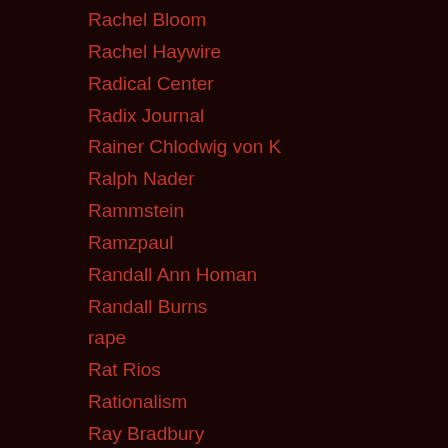Rachel Bloom
Rachel Haywire
Radical Center
Radix Journal
Rainer Chlodwig von K
Ralph Nader
Rammstein
Ramzpaul
Randall Ann Homan
Randall Burns
rape
Rat Rios
Rationalism
Ray Bradbury
Ray Harris